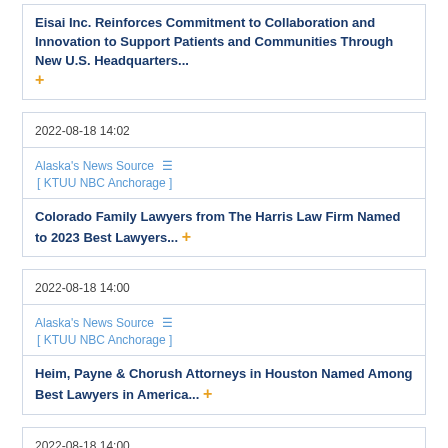Eisai Inc. Reinforces Commitment to Collaboration and Innovation to Support Patients and Communities Through New U.S. Headquarters... +
2022-08-18 14:02
Alaska's News Source  [ KTUU NBC Anchorage ]
Colorado Family Lawyers from The Harris Law Firm Named to 2023 Best Lawyers... +
2022-08-18 14:00
Alaska's News Source  [ KTUU NBC Anchorage ]
Heim, Payne & Chorush Attorneys in Houston Named Among Best Lawyers in America... +
2022-08-18 14:00